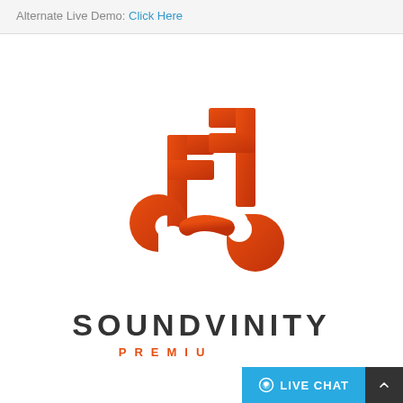Alternate Live Demo: Click Here
[Figure (logo): Soundvinity music logo — two stylized orange musical note symbols forming an S shape, with orange-red gradient coloring]
SOUNDVINITY
PREMIU